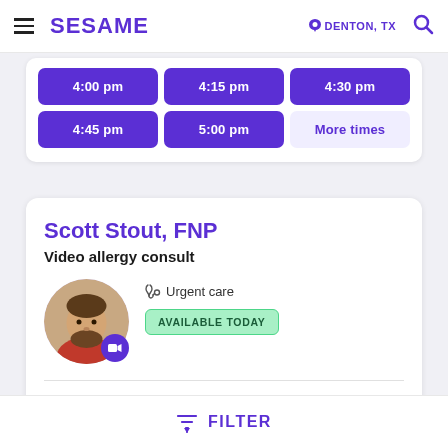SESAME | DENTON, TX
[Figure (screenshot): Time slot buttons: 4:00 pm, 4:15 pm, 4:30 pm, 4:45 pm, 5:00 pm, More times]
Scott Stout, FNP
Video allergy consult
[Figure (photo): Circular profile photo of Scott Stout with video camera badge overlay]
Urgent care
AVAILABLE TODAY
Fri, Sep 2
$64  $44 with Sesame Plus
FILTER